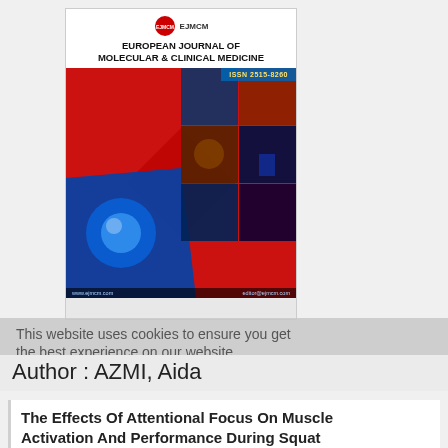[Figure (illustration): Cover of European Journal of Molecular & Clinical Medicine (EJMCM) with ISSN 2515-8260, featuring medical imagery including brain, body organs, molecular structures on a red background with green and blue hexagonal panels.]
This website uses cookies to ensure you get the best experience on our website
Author : AZMI, Aida
The Effects Of Attentional Focus On Muscle Activation And Performance During Squat Exercise